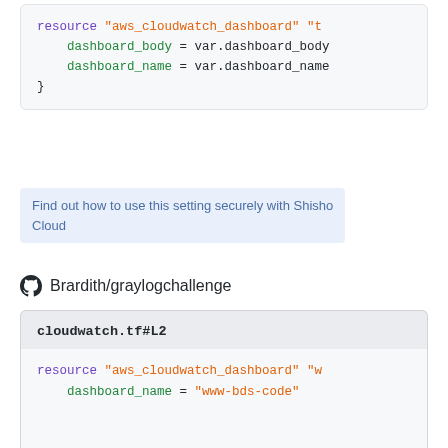[Figure (screenshot): Code block showing Terraform resource with dashboard_body and dashboard_name assignments using var references]
Find out how to use this setting securely with Shisho Cloud
Brardith/graylogchallenge
[Figure (screenshot): GitHub code snippet from cloudwatch.tf#L2 showing resource aws_cloudwatch_dashboard with dashboard_name set to www-bds-code, dashboard_body with heredoc syntax and widgets array]